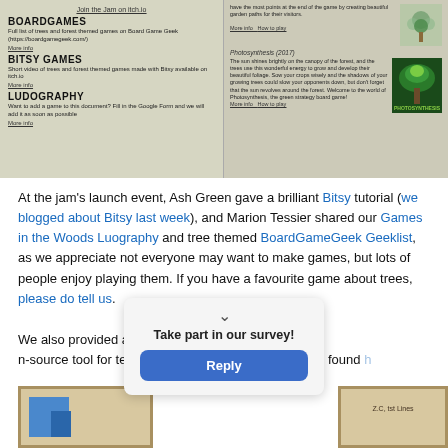[Figure (screenshot): Screenshot of a Games in the Woods document showing sections: BOARDGAMES, BITSY GAMES, LUDOGRAPHY on the left; and game descriptions with images (Photosynthesis board game) on the right]
At the jam's launch event, Ash Green gave a brilliant Bitsy tutorial (we blogged about Bitsy last week), and Marion Tessier shared our Games in the Woods Luography and tree themed BoardGameGeek Geeklist, as we appreciate not everyone may want to make games, but lots of people enjoy playing them. If you have a favourite game about trees, please do tell us.
We also provided an introduction to Twine, which is ... n-source tool for telling i... ... event can be found h...
[Figure (screenshot): Take part in our survey popup overlay with Reply button and chevron icon]
[Figure (screenshot): Bottom row of two screenshots/thumbnails of games]